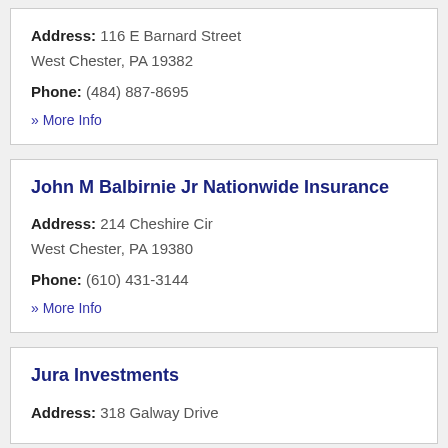Address: 116 E Barnard Street West Chester, PA 19382
Phone: (484) 887-8695
» More Info
John M Balbirnie Jr Nationwide Insurance
Address: 214 Cheshire Cir West Chester, PA 19380
Phone: (610) 431-3144
» More Info
Jura Investments
Address: 318 Galway Drive